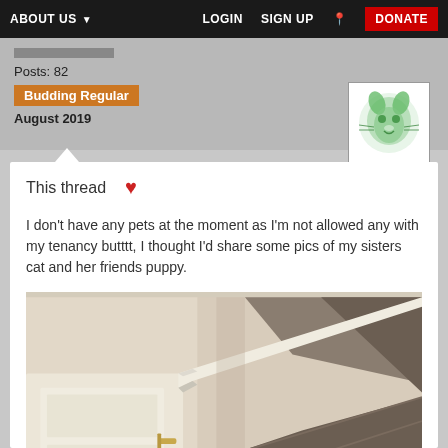ABOUT US  LOGIN  SIGN UP  DONATE
Posts: 82
Budding Regular
August 2019
This thread ♥
I don't have any pets at the moment as I'm not allowed any with my tenancy butttt, I thought I'd share some pics of my sisters cat and her friends puppy.
[Figure (photo): Photo of staircase with white banister and dark wood steps, shot from above angle]